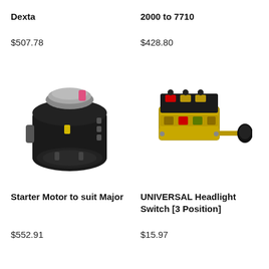Dexta
2000 to 7710
$507.78
$428.80
[Figure (photo): Black starter motor with silver top cap and electrical connectors]
[Figure (photo): Gold and black universal headlight switch with 3 positions and a pull knob]
Starter Motor to suit Major
UNIVERSAL Headlight Switch [3 Position]
$552.91
$15.97